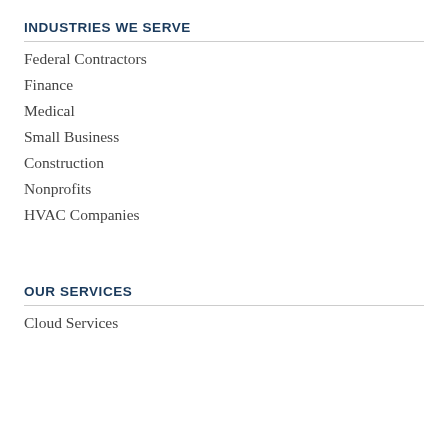INDUSTRIES WE SERVE
Federal Contractors
Finance
Medical
Small Business
Construction
Nonprofits
HVAC Companies
OUR SERVICES
Cloud Services